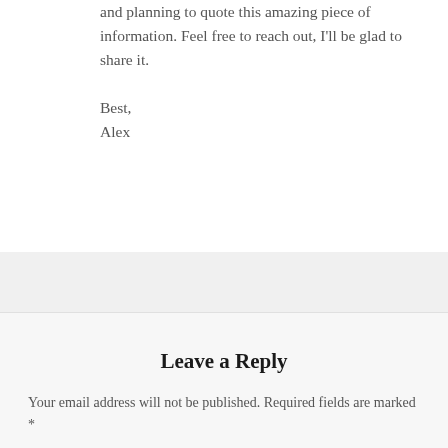and planning to quote this amazing piece of information. Feel free to reach out, I'll be glad to share it.

Best,
Alex
Leave a Reply
Your email address will not be published. Required fields are marked *